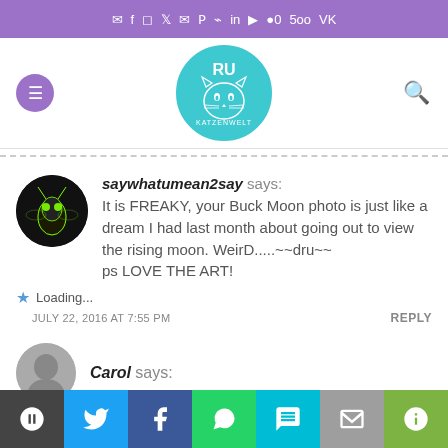Social icons bar (mail, facebook, instagram, twitter, email, pinterest, rss, linkedin, youtube, 500px, vk)
[Figure (logo): Katzenwelt cat logo in teal circle with RU letters]
saywhatumean2say says: It is FREAKY, your Buck Moon photo is just like a dream I had last month about going out to view the rising moon. WeirD.....~~dru~~ ps LOVE THE ART!
Loading...
JULY 22, 2016 AT 7:55 PM
REPLY
Carol says:
Share buttons: WordPress, Twitter, Facebook, WhatsApp, SMS, Mail, Copy